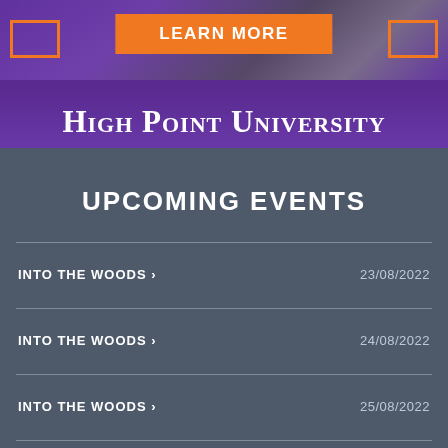[Figure (photo): High Point University banner with photo background and orange LEARN MORE button]
HIGH POINT UNIVERSITY
UPCOMING EVENTS
INTO THE WOODS >   23/08/2022
INTO THE WOODS >   24/08/2022
INTO THE WOODS >   25/08/2022